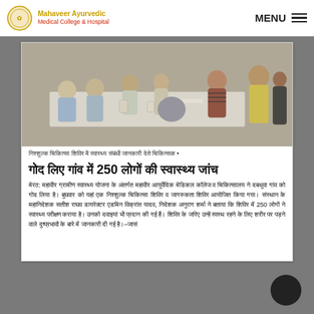Mahaveer Ayurvedic Medical College & Hospital | MENU
[Figure (photo): Group of doctors and officials seated around a table at a free medical camp in Dabayua village]
निश्शुल्क चिकित्सा शिविर में स्वास्थ्य संबंधी जानकारी देते चिकित्सक •
गोद लिए गांव में 250 लोगों की स्वास्थ्य जांच
मेरठ: महावीर ग्रामीण स्वास्थ्य योजना के अंतर्गत महावीर आयुर्वेदिक मेडिकल कॉलेज व चिकित्सालय ने दबथुवा गांव को गोद लिया है। बुघवार को यहां एक निश्शुल्क चिकित्सा शिविर व जागरुकता शिविर आयोजित किया गया। संस्थान के महानिदेशक सतीश राघव डायरेक्टर एडमिन विक्रांत यादव, निदेशक अनुराग शर्मा ने बताया कि शिविर में 250 लोगों ने स्वास्थ्य परीक्षण कराया है। उनको दवाइयां भी प्रदान की गई हैं। शिविर के जरिए उन्हें स्वस्थ रहने के लिए शरीर पर पड़ने वाले दुष्प्रभावों के बारे में जानकारी दी गई है।–जासं